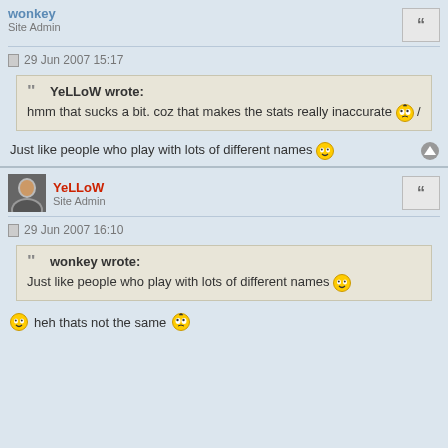wonkey
Site Admin
29 Jun 2007 15:17
YeLLoW wrote:
hmm that sucks a bit. coz that makes the stats really inaccurate /
Just like people who play with lots of different names
YeLLoW
Site Admin
29 Jun 2007 16:10
wonkey wrote:
Just like people who play with lots of different names
heh thats not the same